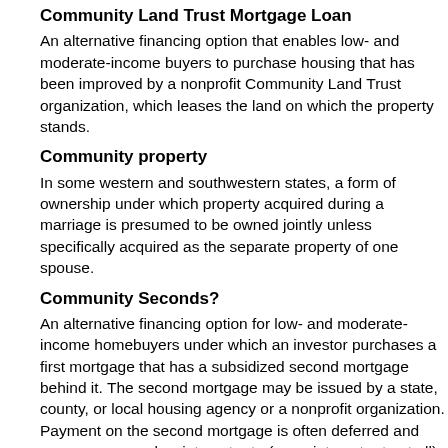Community Land Trust Mortgage Loan
An alternative financing option that enables low- and moderate-income buyers to purchase housing that has been improved by a nonprofit Community Land Trust organization, which leases the land on which the property stands.
Community property
In some western and southwestern states, a form of ownership under which property acquired during a marriage is presumed to be owned jointly unless specifically acquired as the separate property of one spouse.
Community Seconds?
An alternative financing option for low- and moderate-income homebuyers under which an investor purchases a first mortgage that has a subsidized second mortgage behind it. The second mortgage may be issued by a state, county, or local housing agency or a nonprofit organization. Payment on the second mortgage is often deferred and can carry a very low interest rate (or no interest rate at all). Part of the debt may be forgiven incrementally for each year the buyer remains in the home.
Comparables
An abbreviation for "comparable properties"; used for comparative purposes in the appraisal process. Comparables are properties like the property under consideration; they have reasonably the same size, location, and amenities and have recently been sold. Comparables help the appraiser determine the approximate fair market value of the subject property.